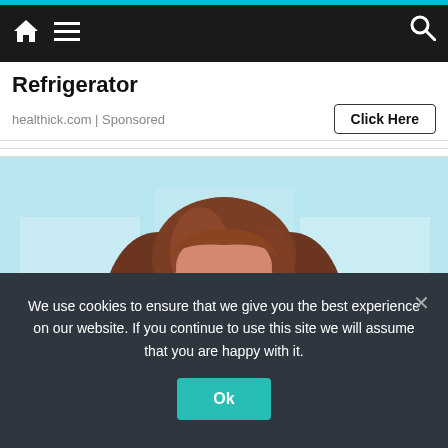Navigation bar with home, menu, and search icons
Refrigerator
healthick.com | Sponsored
Click Here
[Figure (photo): Woman with brown hair and glasses smiling, light blue background, portrait style photo]
We use cookies to ensure that we give you the best experience on our website. If you continue to use this site we will assume that you are happy with it.
Ok